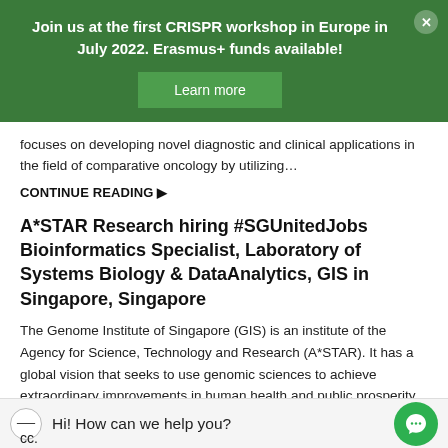[Figure (infographic): Green banner popup with CRISPR workshop announcement and Learn more button with close X button]
focuses on developing novel diagnostic and clinical applications in the field of comparative oncology by utilizing...
CONTINUE READING ▶
A*STAR Research hiring #SGUnitedJobs Bioinformatics Specialist, Laboratory of Systems Biology & DataAnalytics, GIS in Singapore, Singapore
The Genome Institute of Singapore (GIS) is an institute of the Agency for Science, Technology and Research (A*STAR). It has a global vision that seeks to use genomic sciences to achieve extraordinary improvements in human health and public prosperity. GIS is dedicated
Hi! How can we help you?